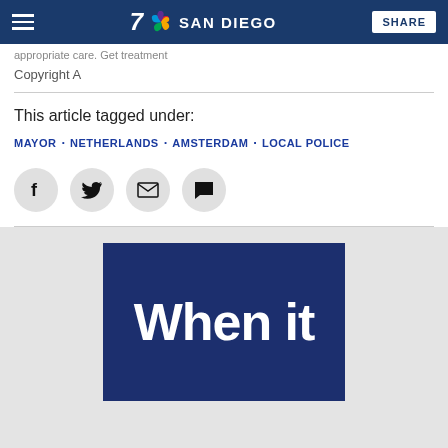NBC 7 SAN DIEGO — SHARE
Copyright A
This article tagged under:
MAYOR · NETHERLANDS · AMSTERDAM · LOCAL POLICE
[Figure (infographic): Social share buttons: Facebook, Twitter, Email, Comment]
[Figure (infographic): Promotional dark blue box with large white bold text reading 'When it']